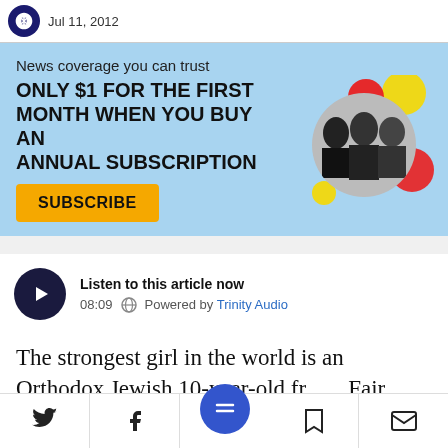Jul 11, 2012
[Figure (infographic): News subscription advertisement banner with light blue background. Text: 'News coverage you can trust', 'ONLY $1 FOR THE FIRST MONTH WHEN YOU BUY AN ANNUAL SUBSCRIPTION', Subscribe button in orange. Image of three political figures (black and white) with colorful circles (red, yellow).]
[Figure (infographic): Audio player widget. Dark circle play button on left. Text: 'Listen to this article now', '08:09', globe icon, 'Powered by Trinity Audio']
The strongest girl in the world is an Orthodox Jewish 10-year-old from Fair Lawn, N.J.
Social share icons: Twitter, Facebook, menu button, bookmark, email